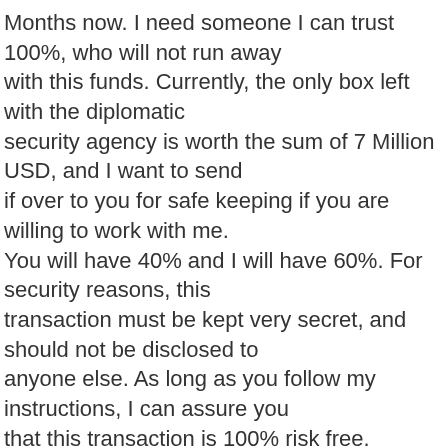Months now. I need someone I can trust 100%, who will not run away with this funds. Currently, the only box left with the diplomatic security agency is worth the sum of 7 Million USD, and I want to send if over to you for safe keeping if you are willing to work with me. You will have 40% and I will have 60%. For security reasons, this transaction must be kept very secret, and should not be disclosed to anyone else. As long as you follow my instructions, I can assure you that this transaction is 100% risk free.

Do get back to me with your response and I will forward more information to you. Please I want to trust you so you know I